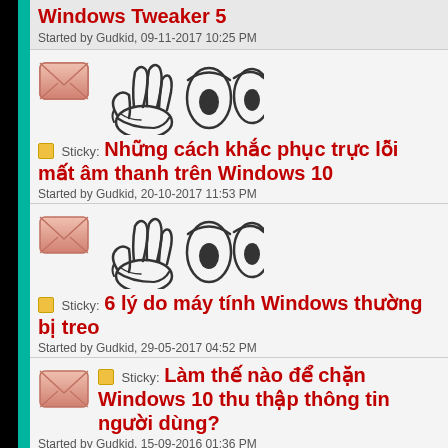Windows Tweaker 5
Started by Gudkid, 09-11-2017 10:25 PM
[Figure (illustration): Envelope icon with cartoon hand and eyes character]
Sticky: Những cách khắc phục trục lỗi mất âm thanh trên Windows 10
Started by Gudkid, 20-10-2017 11:53 PM
[Figure (illustration): Envelope icon with cartoon hand and eyes character]
Sticky: 6 lý do máy tính Windows thường bị treo
Started by Gudkid, 29-05-2017 04:52 PM
Sticky: Làm thế nào để chặn Windows 10 thu thập thông tin người dùng?
Started by Gudkid, 15-09-2016 01:36 PM
[Figure (illustration): Envelope icon with cartoon hand character (partial view)]